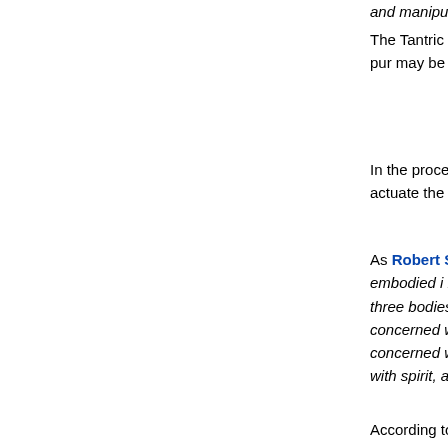and manipulatory ways.
The Tantric practitioner seeks to use the prana (divine... the universe (including one's own body) to attain pur... may be spiritual, material or both. Most practitioners o... experience imperative.
In the process of working with energy, the Tantrika , o... various tools at hand. These include yoga , to actuate... the practitioner to the divine. Tantrism is a quest for sp...
As Robert Svoboda attempts to summarize the three... knowledge, he exclaims: " Because every embodied i... body, a mind and a spirit, the ancient Rishis of India w... of Life organized their wisdom into three bodies of kn... deals mainly with the physical body; Yoga, which dea... Tantra, which is mainly concerned with the mind. The... identical; their manifestations differ because of their d... Ayurveda is most concerned with the physical basis o... harmony of mind and spirit. Yoga controls body and m... harmonize with spirit, and Tantra seeks to use the mi... of body and spirit."
According to Tibetan Buddhist Tantric master Lama...
each one of us is a union of all universal energy. Ev...